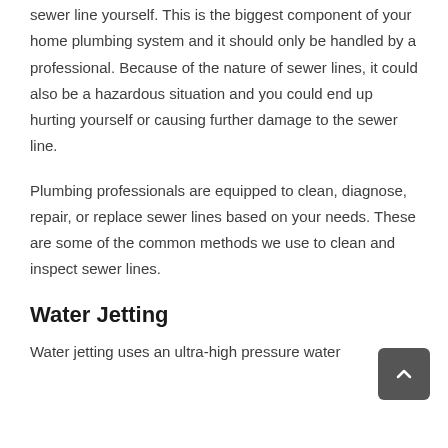sewer line yourself. This is the biggest component of your home plumbing system and it should only be handled by a professional. Because of the nature of sewer lines, it could also be a hazardous situation and you could end up hurting yourself or causing further damage to the sewer line.
Plumbing professionals are equipped to clean, diagnose, repair, or replace sewer lines based on your needs. These are some of the common methods we use to clean and inspect sewer lines.
Water Jetting
Water jetting uses an ultra-high pressure water